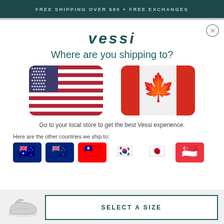FREE SHIPPING OVER $80 + FREE EXCHANGES
vessi
Where are you shipping to?
[Figure (illustration): US flag (rounded rectangle) and Canadian flag (rounded rectangle) side by side]
Go to your local store to get the best Vessi experience.
Here are the other countries we ship to:
[Figure (illustration): Six small country flags: Australia, New Zealand, Taiwan, South Korea, Japan, Singapore]
SELECT A SIZE